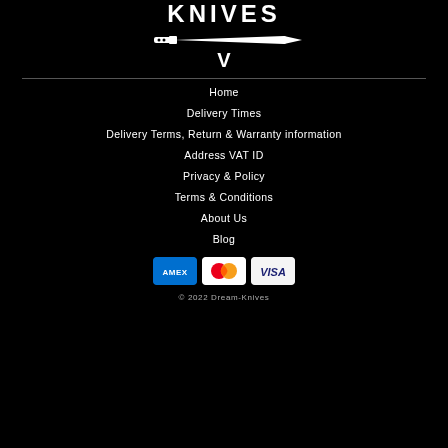[Figure (logo): Dream-Knives logo with knife graphic and V chevron mark in white on black]
Home
Delivery Times
Delivery Terms, Return & Warranty information
Address VAT ID
Privacy & Policy
Terms & Conditions
About Us
Blog
[Figure (logo): Payment icons: American Express, Mastercard, Visa]
© 2022 Dream-Knives